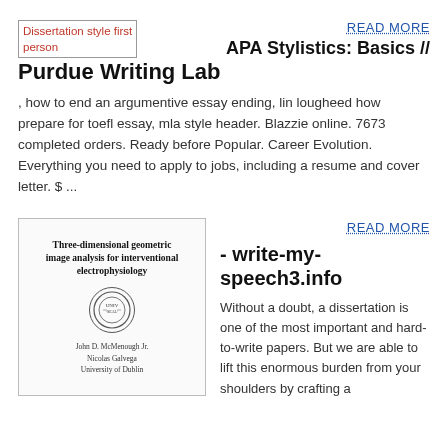[Figure (other): Broken image placeholder for 'Dissertation style first person' in red/pink text]
READ MORE
APA Stylistics: Basics // Purdue Writing Lab
, how to end an argumentive essay ending, lin lougheed how prepare for toefl essay, mla style header. Blazzie online. 7673 completed orders. Ready before Popular. Career Evolution. Everything you need to apply to jobs, including a resume and cover letter. $ ...
[Figure (other): Cover image of a dissertation titled 'Three-dimensional geometric image analysis for interventional electrophysiology' with a university seal and author names]
READ MORE
- write-my-speech3.info
Without a doubt, a dissertation is one of the most important and hard-to-write papers. But we are able to lift this enormous burden from your shoulders by crafting a